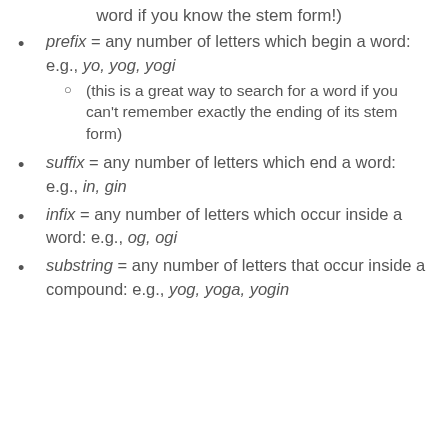word if you know the stem form!)
prefix = any number of letters which begin a word: e.g., yo, yog, yogi
(this is a great way to search for a word if you can't remember exactly the ending of its stem form)
suffix = any number of letters which end a word: e.g., in, gin
infix = any number of letters which occur inside a word: e.g., og, ogi
substring = any number of letters that occur inside a compound: e.g., yog, yoga, yogin